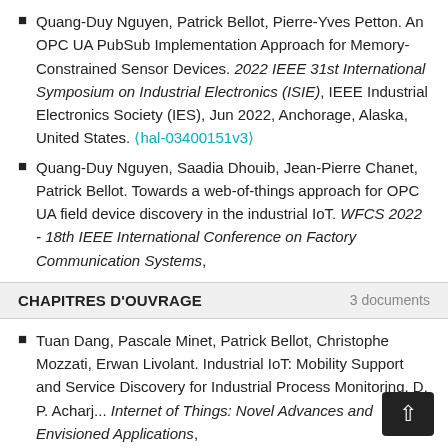Quang-Duy Nguyen, Patrick Bellot, Pierre-Yves Petton. An OPC UA PubSub Implementation Approach for Memory-Constrained Sensor Devices. 2022 IEEE 31st International Symposium on Industrial Electronics (ISIE), IEEE Industrial Electronics Society (IES), Jun 2022, Anchorage, Alaska, United States. ⟨hal-03400151v3⟩
Quang-Duy Nguyen, Saadia Dhouib, Jean-Pierre Chanet, Patrick Bellot. Towards a web-of-things approach for OPC UA field device discovery in the industrial IoT. WFCS 2022 - 18th IEEE International Conference on Factory Communication Systems,
CHAPITRES D'OUVRAGE   3 documents
Tuan Dang, Pascale Minet, Patrick Bellot, Christophe Mozzati, Erwan Livolant. Industrial IoT: Mobility Support and Service Discovery for Industrial Process Monitoring. D. P. Acharj... Internet of Things: Novel Advances and Envisioned Applications,